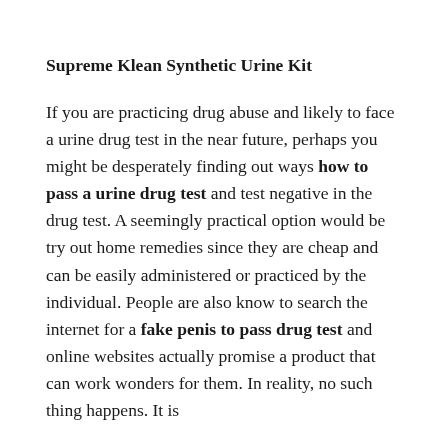Supreme Klean Synthetic Urine Kit
If you are practicing drug abuse and likely to face a urine drug test in the near future, perhaps you might be desperately finding out ways how to pass a urine drug test and test negative in the drug test. A seemingly practical option would be try out home remedies since they are cheap and can be easily administered or practiced by the individual. People are also know to search the internet for a fake penis to pass drug test and online websites actually promise a product that can work wonders for them. In reality, no such thing happens. It is